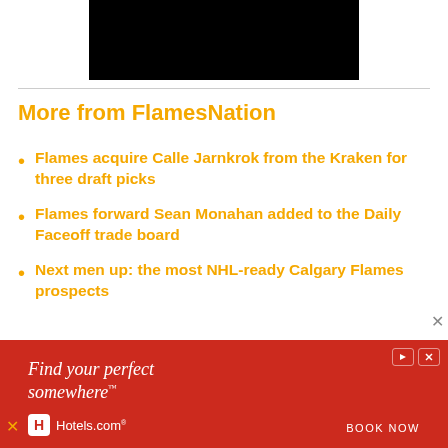[Figure (other): Black video player placeholder rectangle]
More from FlamesNation
Flames acquire Calle Jarnkrok from the Kraken for three draft picks
Flames forward Sean Monahan added to the Daily Faceoff trade board
Next men up: the most NHL-ready Calgary Flames prospects
[Figure (screenshot): Hotels.com advertisement banner with text 'Find your perfect somewhere' and BOOK NOW button on red background]